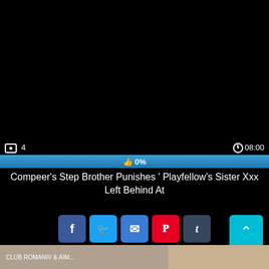ASS MUNCH
[Figure (screenshot): Dark/black video player with views count 4 and duration 08:00]
[Figure (infographic): Blue progress/rating bar showing 👍 0%]
Compeer's Step Brother Punishes ' Playfellow's Sister Xxx Left Behind At
[Figure (infographic): Social share buttons row 1: Facebook, Twitter, Email, Pinterest, Tumblr; scroll-to-top button]
[Figure (infographic): Social share buttons row 2: Reddit, Blogger, WordPress, VK, More]
[Figure (photo): Thumbnail strip at bottom of page]